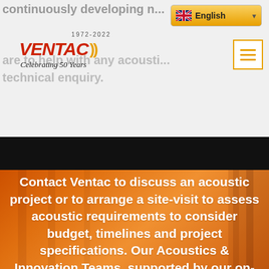continuously developing new market solutions and are
[Figure (screenshot): Ventac 1972-2022 Celebrating 50 Years logo with sound wave/brackets graphic in orange and red]
are to help with any acoustic technical enquiry.
[Figure (screenshot): English language selector dropdown button with UK flag and chevron]
[Figure (screenshot): Hamburger menu button with three orange horizontal lines in white square border]
Contact Ventac to discuss an acoustic project or to arrange a site-visit to assess acoustic requirements to consider budget, timelines and project specifications. Our Acoustics & Innovation Teams, supported by our on-site manufacturing and acoustic facilities are continuously developing new market solutions and are